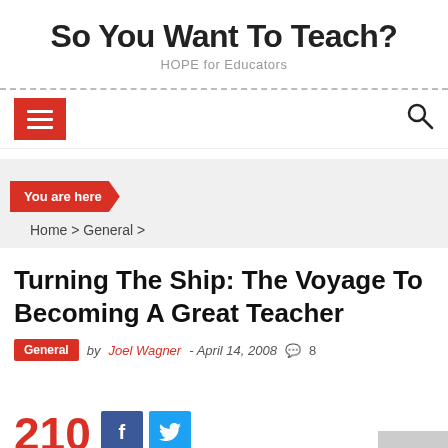So You Want To Teach?
HOPE for Educators
[Figure (screenshot): Navigation bar with hamburger menu (red) on the left and search icon on the right]
You are here
Home > General >
Turning The Ship: The Voyage To Becoming A Great Teacher
General  by Joel Wagner - April 14, 2008  💬 8
210
[Figure (screenshot): Social share buttons: Facebook (blue) and Twitter (light blue)]
TOP